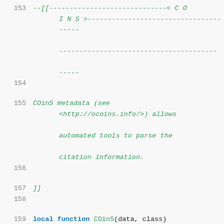153  --[[-----------------------------< C O I N S >-------------------------------------- -----
154  (empty line)
155  COinS metadata (see <http://ocoins.info/>) allows automated tools to parse the citation information.
156  (empty line)
157  ]]
158  (empty line)
159  local function COinS(data, class)
160      if 'table' ~= type(data) or nil == next(data) then
161          return '';
162      end